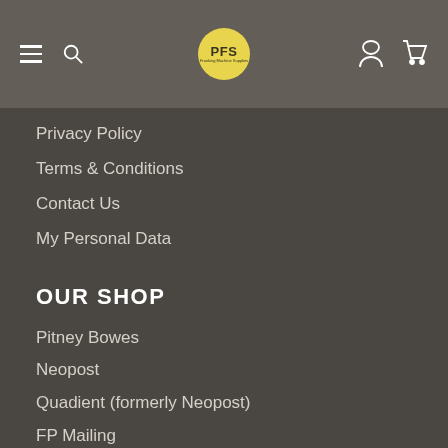PFS navigation bar with hamburger menu, search, logo, user and cart icons
Privacy Policy
Terms & Conditions
Contact Us
My Personal Data
OUR SHOP
Pitney Bowes
Neopost
Quadient (formerly Neopost)
FP Mailing
Frama
Refill & Reset Service
Envelopes